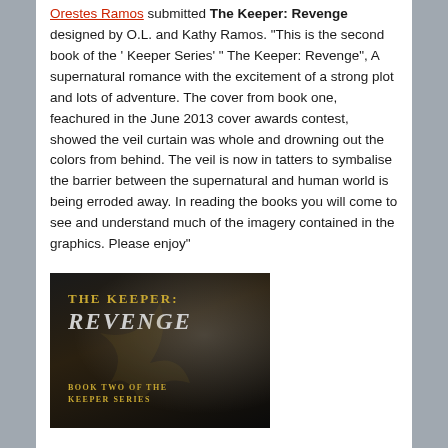Orestes Ramos submitted The Keeper: Revenge designed by O.L. and Kathy Ramos. "This is the second book of the ' Keeper Series' " The Keeper: Revenge", A supernatural romance with the excitement of a strong plot and lots of adventure. The cover from book one, feachured in the June 2013 cover awards contest, showed the veil curtain was whole and drowning out the colors from behind. The veil is now in tatters to symbalise the barrier between the supernatural and human world is being erroded away. In reading the books you will come to see and understand much of the imagery contained in the graphics. Please enjoy"
[Figure (photo): Book cover for 'The Keeper: Revenge - Book Two of the Keeper Series'. Dark background with gold and grey text on a dark atmospheric image.]